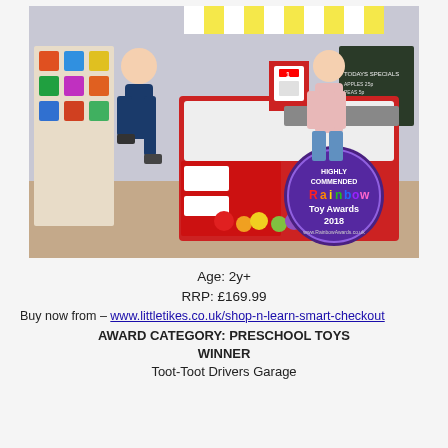[Figure (photo): Two children playing with a red and white toy supermarket checkout set with toy foods and accessories. A Rainbow Toy Awards 2018 Highly Commended badge is visible in the bottom right of the image.]
Age: 2y+
RRP: £169.99
Buy now from – www.littletikes.co.uk/shop-n-learn-smart-checkout
AWARD CATEGORY: PRESCHOOL TOYS
WINNER
Toot-Toot Drivers Garage